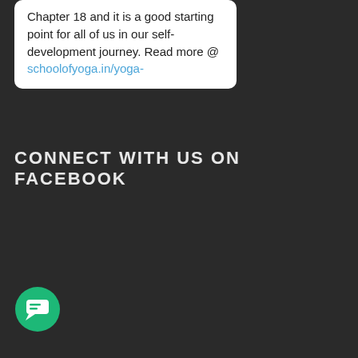Chapter 18 and it is a good starting point for all of us in our self-development journey. Read more @ schoolofyoga.in/yoga-
CONNECT WITH US ON FACEBOOK
[Figure (illustration): Green circular chat/message button icon with a speech bubble symbol in white]